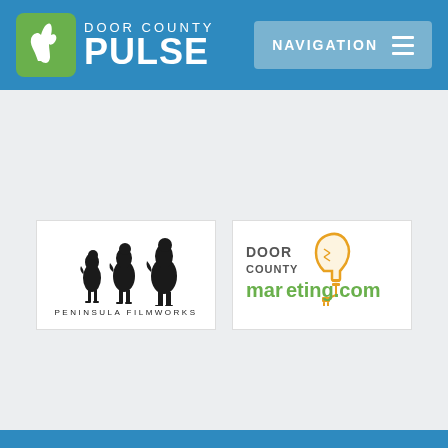Door County Pulse — Navigation
[Figure (logo): Peninsula Filmworks logo with silhouette of emus/ostriches]
[Figure (logo): Door County marketing.com logo with lightbulb illustration]